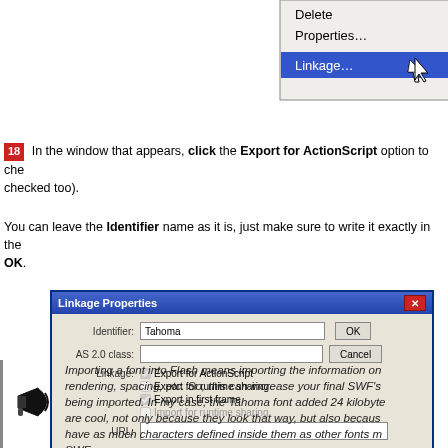[Figure (screenshot): Context menu showing Delete, Properties..., and Linkage... options, with Linkage... highlighted in blue and a cursor arrow pointing at it]
18 In the window that appears, click the Export for ActionScript option to check it (Export in first frame will be checked too).
You can leave the Identifier name as it is, just make sure to write it exactly in the ActionScript. Click OK.
[Figure (screenshot): Linkage Properties dialog box with Identifier field showing 'Tahoma', AS 2.0 class field empty, Linkage checkboxes for Export for ActionScript (checked), Export for runtime sharing (unchecked), Export in first frame (checked), Import for runtime sharing (disabled), URL field, OK and Cancel buttons]
Importing a font into Flash means importing the information on how it looks: rendering, spacing, etc. So, this can increase your final SWF's file size by the size of the font being imported. In my case, the Tahoma font added 24 kilobytes. But embedded fonts are cool, not only because they look that way, but also because small fonts such as this have as much characters defined inside them as other fonts making your SWF even bigger.